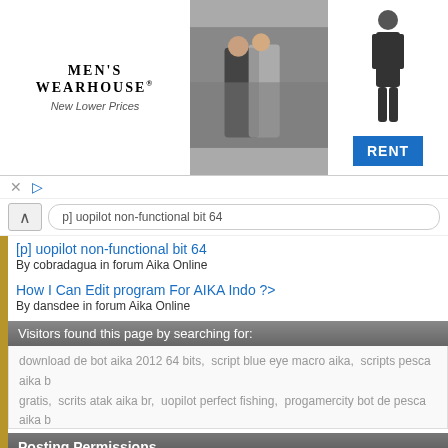[Figure (photo): Men's Wearhouse advertisement banner showing a couple dressed formally and a man in a suit, with a RENT button]
[p] uopilot non-functional bit 64
By cobradagua in forum Aika Online
How I Can Edit program For AIKA Indo ?>
By dansdee in forum Aika Online
Visitors found this page by searching for:
download de bot aika 2012 64 bits, script blue eye macro aika, scripts pesca aika br gratis, scrits atak aika br, uopilot perfect fishing, progamercity bot de pesca aika br, pesca aika perfect, blue eye caça aika, script uopilot download, melhor script para aika, bot pesca aika br 64 bits atualizado, hack aika online programy, auto atk mac
Posting Permissions
| You may not post new threads | BB code is On |
| You may not post replies | Smilies are On |
| You may not post attachments | [IMG] code is On |
| You may not edit your posts | [VIDEO] code is On |
|  | HTML code is Off |
|  | Forum Rules |